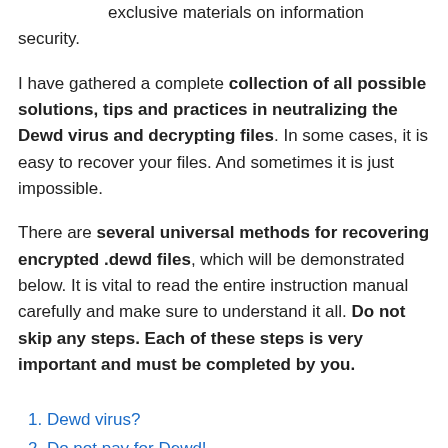exclusive materials on information security.
I have gathered a complete collection of all possible solutions, tips and practices in neutralizing the Dewd virus and decrypting files. In some cases, it is easy to recover your files. And sometimes it is just impossible.
There are several universal methods for recovering encrypted .dewd files, which will be demonstrated below. It is vital to read the entire instruction manual carefully and make sure to understand it all. Do not skip any steps. Each of these steps is very important and must be completed by you.
1. Dewd virus?
2. Do not pay for Dewd!